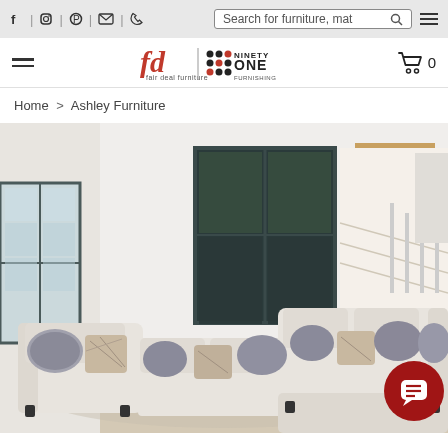Navigation bar with social icons, search bar, hamburger menu, Fair Deal Furniture / Ninety One logo, and cart icon
Home > Ashley Furniture
[Figure (photo): A light beige sectional sofa with gray and patterned throw pillows arranged in an L-shape with a chaise, set in a bright modern living room with large windows, a decorative wall clock, and abstract wall art. A red chat button is overlaid in the bottom-right corner.]